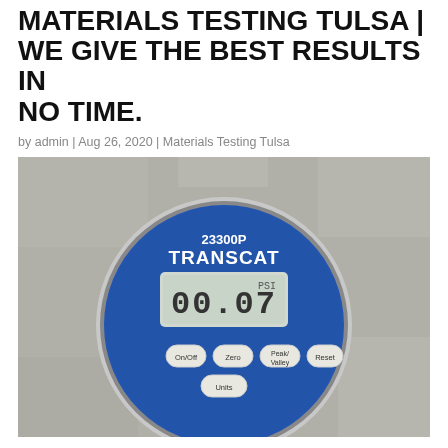MATERIALS TESTING TULSA | WE GIVE THE BEST RESULTS IN NO TIME.
by admin | Aug 26, 2020 | Materials Testing Tulsa
[Figure (photo): Close-up photo of a blue circular digital pressure gauge, model 23300P TRANSCAT, displaying 00.07 PSI on its LCD screen. The gauge has four buttons labeled On/Off, Zero, Peak/Valley, Reset, and a fifth button labeled Units. The gauge has a metal connector at the bottom and is set against a gray surface.]